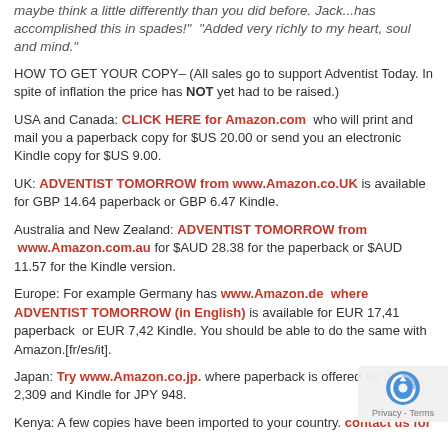maybe think a little differently than you did before. Jack...has accomplished this in spades!  "Added very richly to my heart, soul and mind."
HOW TO GET YOUR COPY– (All sales go to support Adventist Today. In spite of inflation the price has NOT yet had to be raised.)
USA and Canada:  CLICK HERE for Amazon.com  who will print and mail you a paperback copy for $US 20.00 or send you an electronic Kindle copy for $US 9.00.
UK:  ADVENTIST TOMORROW from www.Amazon.co.UK is available for GBP 14.64 paperback or GBP 6.47 Kindle.
Australia and New Zealand:  ADVENTIST TOMORROW from  www.Amazon.com.au for $AUD 28.38 for the paperback or $AUD 11.57 for the Kindle version.
Europe:  For example Germany has www.Amazon.de  where ADVENTIST TOMORROW (in English) is available for EUR 17,41 paperback  or EUR 7,42 Kindle. You should be able to do the same with Amazon.[fr/es/it].
Japan:  Try www.Amazon.co.jp. where paperback is offered for JPY 2,309 and Kindle for JPY 948.
Kenya:  A few copies have been imported to your country. contact us for